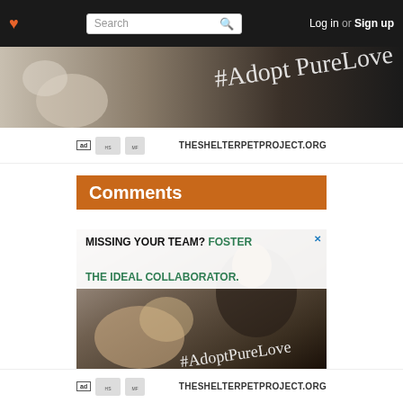♥  Search  Log in or Sign up
[Figure (photo): Top portion of shelter pet adoption advertisement showing cats with #AdoptPureLove script text]
ad  [Humane Society logo]  [Maddie's Fund logo]  THESHELTERPETPROJECT.ORG
Comments
[Figure (photo): Shelter pet adoption advertisement showing man with cat, text: MISSING YOUR TEAM? FOSTER THE IDEAL COLLABORATOR. #AdoptPureLove]
ad  [Humane Society logo]  [Maddie's Fund logo]  THESHELTERPETPROJECT.ORG